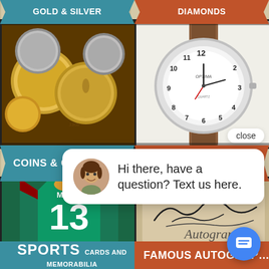[Figure (screenshot): App screenshot showing a collectibles marketplace with categories: Gold & Silver (partially visible at top), Diamonds (partially visible), Coins & Currency, Wrist & Pocket Watches, Sports Cards and Memorabilia, Famous Autographs. Images show coins, a wristwatch, a sports jersey (#13 Marino), and autographed item. A chat popup overlay reads 'Hi there, have a question? Text us here.' with a close button and chat bubble icon.]